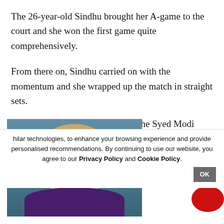The 26-year-old Sindhu brought her A-game to the court and she won the first game quite comprehensively.
From there on, Sindhu carried on with the momentum and she wrapped up the match in straight sets.
Earlier, the men's singles final of the Syed Modi India International 2022 was declared a 'No Match', on (BWF) confirmed on
[Figure (photo): Video overlay showing a portrait of a woman with blonde hair against a blue background, with a play button circle overlay.]
hilar technologies, to enhance your browsing experience and provide personalised recommendations. By continuing to use our website, you agree to our Privacy Policy and Cookie Policy.